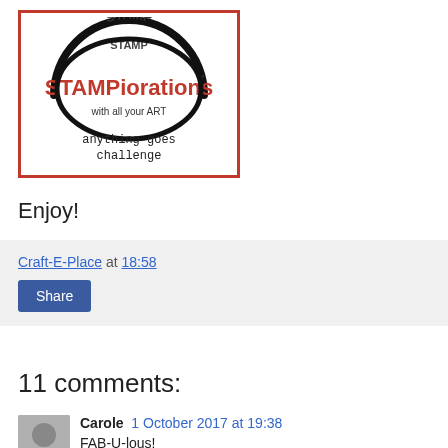[Figure (logo): STAMPiorations logo with red border, circular stamp design with text 'STAMP', 'STAMPiorations TM', 'with all your ART', and 'anything goes challenge']
Enjoy!
Craft-E-Place at 18:58
Share
11 comments:
Carole 1 October 2017 at 19:38
FAB-U-lous!
Reply